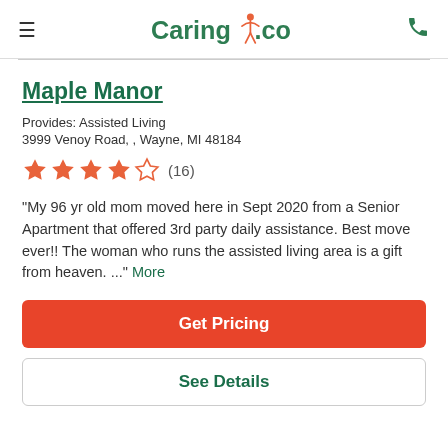Caring.com
Maple Manor
Provides: Assisted Living
3999 Venoy Road, , Wayne, MI 48184
[Figure (other): Star rating: 4 out of 5 stars (16 reviews)]
"My 96 yr old mom moved here in Sept 2020 from a Senior Apartment that offered 3rd party daily assistance. Best move ever!! The woman who runs the assisted living area is a gift from heaven. ..." More
Get Pricing
See Details